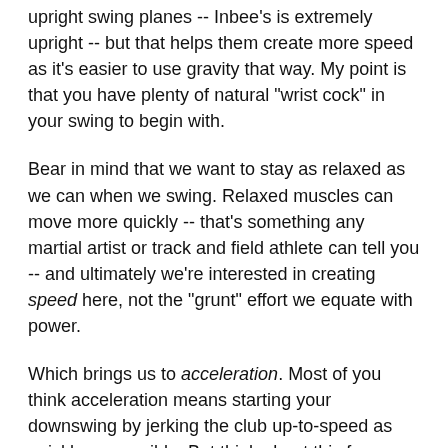upright swing planes -- Inbee's is extremely upright -- but that helps them create more speed as it's easier to use gravity that way. My point is that you have plenty of natural "wrist cock" in your swing to begin with.
Bear in mind that we want to stay as relaxed as we can when we swing. Relaxed muscles can move more quickly -- that's something any martial artist or track and field athlete can tell you -- and ultimately we're interested in creating speed here, not the "grunt" effort we equate with power.
Which brings us to acceleration. Most of you think acceleration means starting your downswing by jerking the club up-to-speed as quickly as possible. But think about this for a moment. Let's say you manage to create your maximum swing speed with that move (and without jerking the club off-plane). If you're already at max speed, how can you accelerate during your downswing? All you can do is slow down.
To accelerate the clubhead, you have to start down slowly -- which helps keep you on-plane -- and speed up as you get